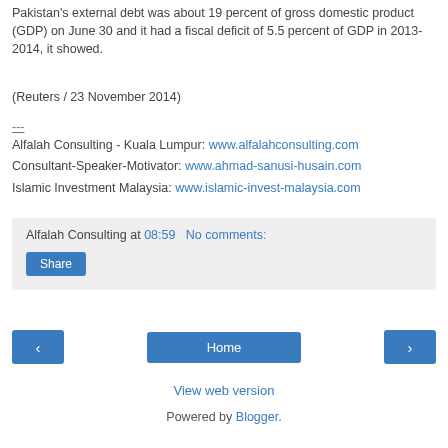Pakistan's external debt was about 19 percent of gross domestic product (GDP) on June 30 and it had a fiscal deficit of 5.5 percent of GDP in 2013-2014, it showed.
(Reuters / 23 November 2014)
---
Alfalah Consulting - Kuala Lumpur: www.alfalahconsulting.com
Consultant-Speaker-Motivator: www.ahmad-sanusi-husain.com
Islamic Investment Malaysia: www.islamic-invest-malaysia.com
Alfalah Consulting at 08:59   No comments:
Share
Home
View web version
Powered by Blogger.